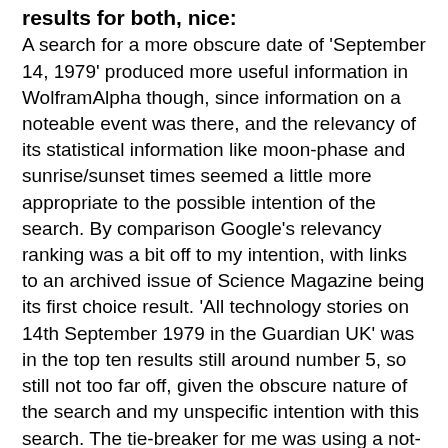results for both, nice:
A search for a more obscure date of 'September 14, 1979' produced more useful information in WolframAlpha though, since information on a noteable event was there, and the relevancy of its statistical information like moon-phase and sunrise/sunset times seemed a little more appropriate to the possible intention of the search. By comparison Google's relevancy ranking was a bit off to my intention, with links to an archived issue of Science Magazine being its first choice result. 'All technology stories on 14th September 1979 in the Guardian UK' was in the top ten results still around number 5, so still not too far off, given the obscure nature of the search and my unspecific intention with this search. The tie-breaker for me was using a not-too-popular but still known date, UK Prime Minister Gordon Brown's birthday of 20 February 1951. Here Google floundered, the Wikipedia link to Gordon Brown was listed in the top 10, but was not number one. By comparison, in WolframAlpha's Noteable Events listing Gordon Brown's birthday was listed, along with actor Edward Albert. The Edward Albert birthday was a result that was NOT in Google's top ten search, but did seem to have a strong relevance to search intention that Google missed, as the site it seems to search intention. This b